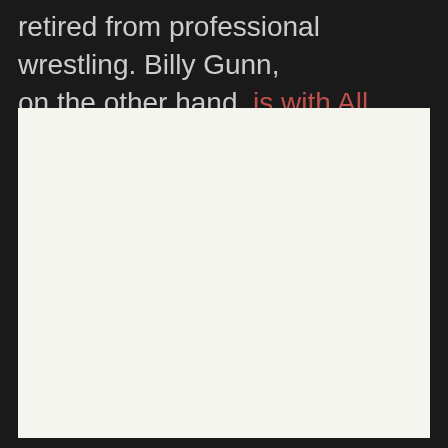retired from professional wrestling. Billy Gunn, on the other hand, is with All Elite Wrestling these days.
[Figure (photo): A large white/light gray rectangular image placeholder occupying the lower portion of the page]